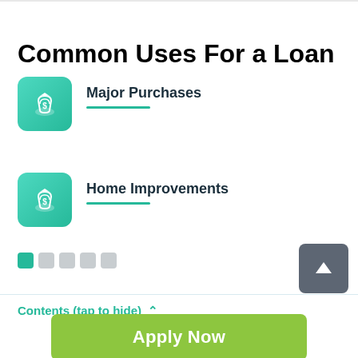Common Uses For a Loan
Major Purchases
Home Improvements
Contents (tap to hide) ^
Apply Now
Applying does NOT affect your credit score! No credit check to apply.
1  The Es... (The Essentials of...)
2  The reasons to Apply For Title Loans in Fehens...